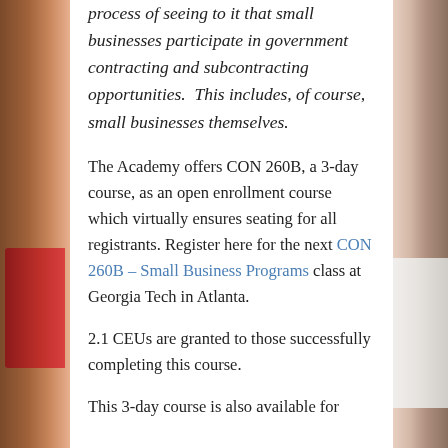process of seeing to it that small businesses participate in government contracting and subcontracting opportunities.  This includes, of course, small businesses themselves.
The Academy offers CON 260B, a 3-day course, as an open enrollment course which virtually ensures seating for all registrants. Register here for the next CON 260B – Small Business Programs class at Georgia Tech in Atlanta.
2.1 CEUs are granted to those successfully completing this course.
This 3-day course is also available for